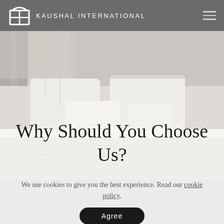KAUSHAL INTERNATIONAL
[Figure (photo): Hotel bed with white pillows and white bedding, light curtains in background]
Why Should You Choose Us?
We use cookies to give you the best experience. Read our cookie policy.